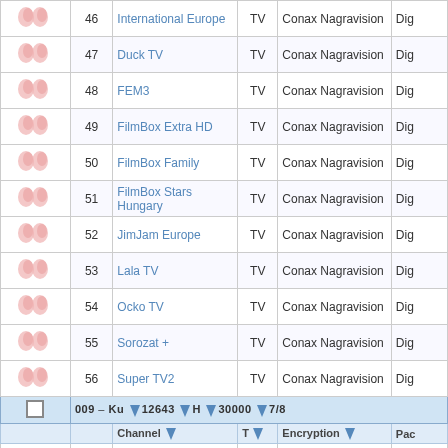|  | # | Channel | T | Encryption | Pack |
| --- | --- | --- | --- | --- | --- |
| 🌿🌿 | 46 | International Europe | TV | Conax Nagravision | Dig |
| 🌿🌿 | 47 | Duck TV | TV | Conax Nagravision | Dig |
| 🌿🌿 | 48 | FEM3 | TV | Conax Nagravision | Dig |
| 🌿🌿 | 49 | FilmBox Extra HD | TV | Conax Nagravision | Dig |
| 🌿🌿 | 50 | FilmBox Family | TV | Conax Nagravision | Dig |
| 🌿🌿 | 51 | FilmBox Stars Hungary | TV | Conax Nagravision | Dig |
| 🌿🌿 | 52 | JimJam Europe | TV | Conax Nagravision | Dig |
| 🌿🌿 | 53 | Lala TV | TV | Conax Nagravision | Dig |
| 🌿🌿 | 54 | Ocko TV | TV | Conax Nagravision | Dig |
| 🌿🌿 | 55 | Sorozat + | TV | Conax Nagravision | Dig |
| 🌿🌿 | 56 | Super TV2 | TV | Conax Nagravision | Dig |
| SAT | 009 Ku 12643 H 30000 7/8 |  |  |  |  |
|  | Channel T Encryption Pack |  |  |  |  |
| 🌿🌿 | 57 | Rodnoe Kino | TV | Verimatrix |  |
| 🌿🌿 | 58 | Nashe Novoe Kino | TV | Verimatrix |  |
| 🌿🌿 | 59 | Dom Kino | TV | Verimatrix |  |